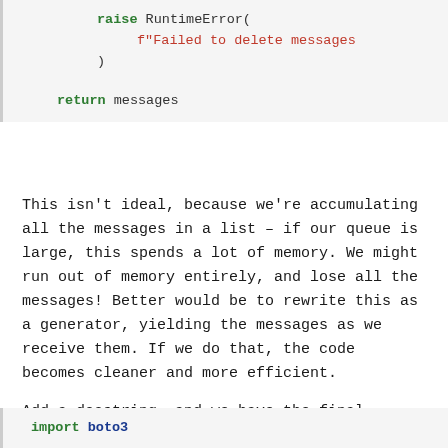raise RuntimeError(
    f"Failed to delete messages
)
return messages
This isn't ideal, because we're accumulating all the messages in a list – if our queue is large, this spends a lot of memory. We might run out of memory entirely, and lose all the messages! Better would be to rewrite this as a generator, yielding the messages as we receive them. If we do that, the code becomes cleaner and more efficient.
Add a docstring, and we have the final version of the function:
import boto3